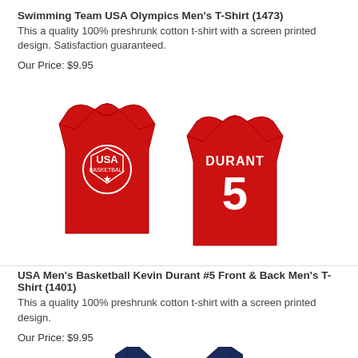Swimming Team USA Olympics Men's T-Shirt (1473)
This a quality 100% preshrunk cotton t-shirt with a screen printed design. Satisfaction guaranteed.
Our Price: $9.95
[Figure (photo): Two red USA Basketball t-shirts. Front shows USA Basketball logo. Back shows DURANT #5.]
USA Men's Basketball Kevin Durant #5 Front & Back Men's T-Shirt (1401)
This a quality 100% preshrunk cotton t-shirt with a screen printed design.
Our Price: $9.95
[Figure (photo): Partial view of a navy blue t-shirt at the bottom of the page.]